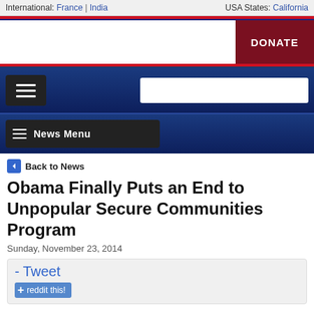International: France | India    USA States: California
[Figure (screenshot): Website navigation bar with DONATE button, hamburger menu, search box, and News Menu bar]
Back to News
Obama Finally Puts an End to Unpopular Secure Communities Program
Sunday, November 23, 2014
- Tweet  reddit this!
(photo: ICE)
Those immigrants arrested for minor crimes can breathe a bit easier now that a program under which